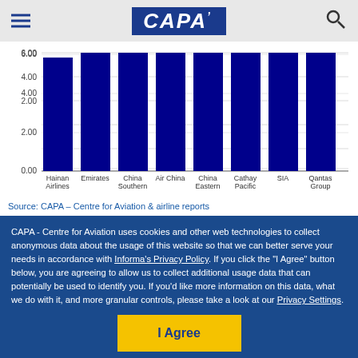CAPA
[Figure (bar-chart): ]
Source: CAPA – Centre for Aviation & airline reports
CAPA - Centre for Aviation uses cookies and other web technologies to collect anonymous data about the usage of this website so that we can better serve your needs in accordance with Informa's Privacy Policy. If you click the "I Agree" button below, you are agreeing to allow us to collect additional usage data that can potentially be used to identify you. If you'd like more information on this data, what we do with it, and more granular controls, please take a look at our Privacy Settings.